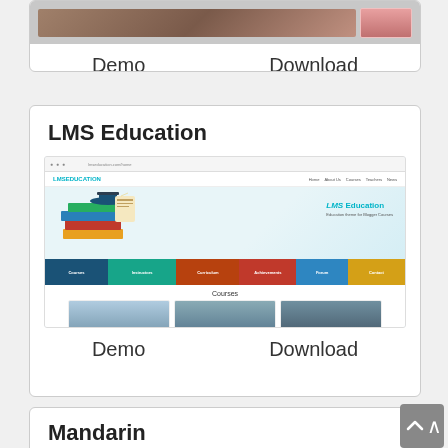[Figure (screenshot): Top card showing Demo and Download links for a theme, partially visible at top of page]
Demo    Download
LMS Education
[Figure (screenshot): LMS Education WordPress theme screenshot showing a learning management system website with graduation cap illustration, colorful navigation bar segments, and courses section with thumbnail images]
Demo    Download
Mandarin